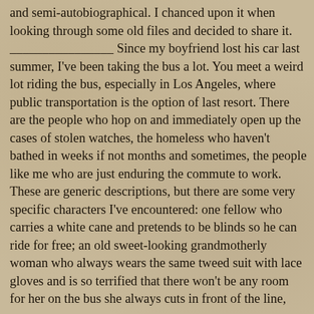and semi-autobiographical. I chanced upon it when looking through some old files and decided to share it. ________________ Since my boyfriend lost his car last summer, I've been taking the bus a lot. You meet a weird lot riding the bus, especially in Los Angeles, where public transportation is the option of last resort. There are the people who hop on and immediately open up the cases of stolen watches, the homeless who haven't bathed in weeks if not months and sometimes, the people like me who are just enduring the commute to work. These are generic descriptions, but there are some very specific characters I've encountered: one fellow who carries a white cane and pretends to be blinds so he can ride for free; an old sweet-looking grandmotherly woman who always wears the same tweed suit with lace gloves and is so terrified that there won't be any room for her on the bus she always cuts in front of the line, even …